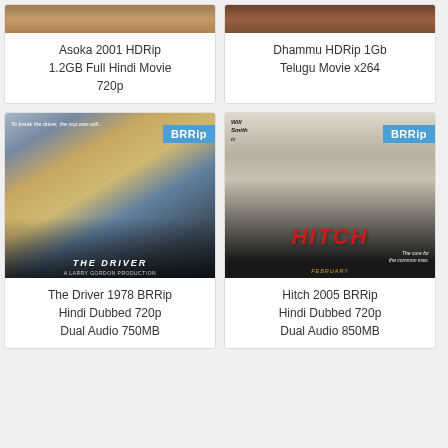[Figure (photo): Top portion of movie poster/image for Asoka - cropped top]
[Figure (photo): Top portion of movie poster/image for Dhammu - cropped top]
Asoka 2001 HDRip 1.2GB Full Hindi Movie 720p
Dhammu HDRip 1Gb Telugu Movie x264
[Figure (photo): The Driver 1978 movie poster with BRRip badge]
[Figure (photo): Hitch 2005 movie poster with Will Smith and BRRip badge]
The Driver 1978 BRRip Hindi Dubbed 720p Dual Audio 750MB
Hitch 2005 BRRip Hindi Dubbed 720p Dual Audio 850MB